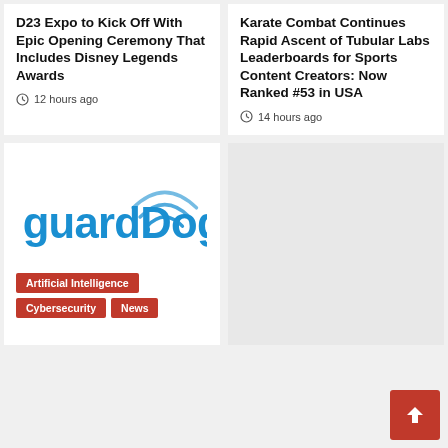D23 Expo to Kick Off With Epic Opening Ceremony That Includes Disney Legends Awards
12 hours ago
Karate Combat Continues Rapid Ascent of Tubular Labs Leaderboards for Sports Content Creators: Now Ranked #53 in USA
14 hours ago
[Figure (logo): guardDog logo in blue with WiFi signal waves above the text]
Artificial Intelligence
Cybersecurity
News